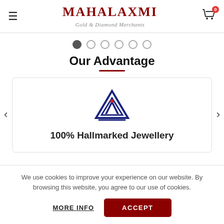MAHALAXMI Gold & Diamond Merchants
[Figure (other): Carousel pagination dots — one filled (active), five empty circles]
Our Advantage
[Figure (logo): BIS (Bureau of Indian Standards) hallmark logo — blue triangle with red dot and stylized A shape, with horizontal base line]
100% Hallmarked Jewellery
We use cookies to improve your experience on our website. By browsing this website, you agree to our use of cookies.
MORE INFO
ACCEPT